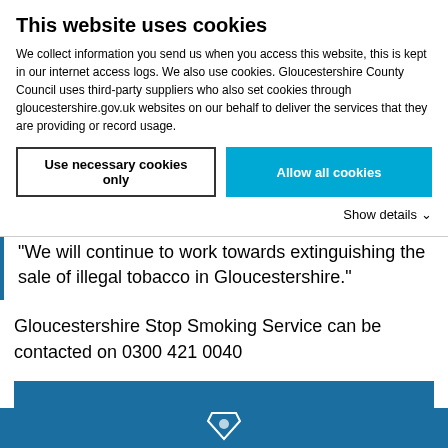This website uses cookies
We collect information you send us when you access this website, this is kept in our internet access logs. We also use cookies. Gloucestershire County Council uses third-party suppliers who also set cookies through gloucestershire.gov.uk websites on our behalf to deliver the services that they are providing or record usage.
Use necessary cookies only | Allow all cookies
Show details
"We will continue to work towards extinguishing the sale of illegal tobacco in Gloucestershire."
Gloucestershire Stop Smoking Service can be contacted on 0300 421 0040
Did you find what you were looking for?
[Figure (logo): Gloucestershire County Council logo icon in white on dark blue footer]